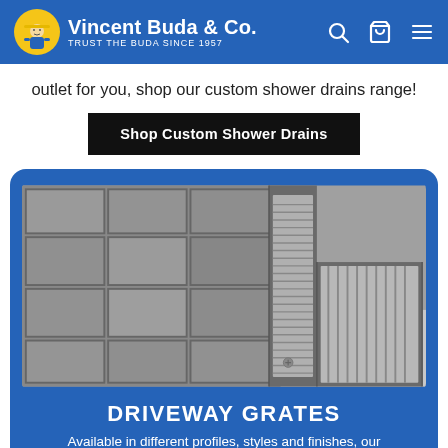Vincent Buda & Co. — TRUST THE BUDA SINCE 1957
outlet for you, shop our custom shower drains range!
Shop Custom Shower Drains
[Figure (photo): Close-up photo of a driveway drain grate installed between paving stones and concrete, showing a metal slotted grate system.]
DRIVEWAY GRATES
Available in different profiles, styles and finishes, our